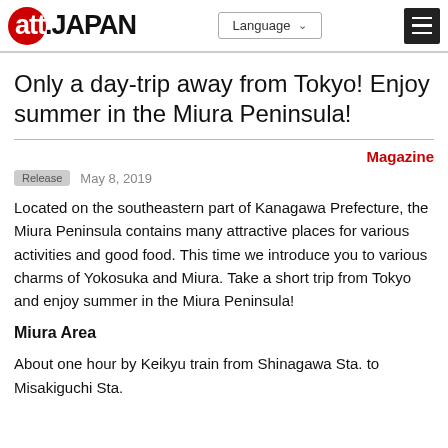att.JAPAN | Language | Menu
Only a day-trip away from Tokyo! Enjoy summer in the Miura Peninsula!
Magazine
Release  May 8, 2019
Located on the southeastern part of Kanagawa Prefecture, the Miura Peninsula contains many attractive places for various activities and good food. This time we introduce you to various charms of Yokosuka and Miura. Take a short trip from Tokyo and enjoy summer in the Miura Peninsula!
Miura Area
About one hour by Keikyu train from Shinagawa Sta. to Misakiguchi Sta.